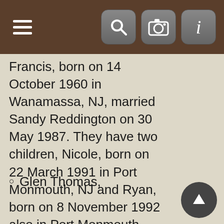[Navigation bar with hamburger menu and search, camera, info icons]
Francis, born on 14 October 1960 in Wanamassa, NJ, married Sandy Reddington on 30 May 1987. They have two children, Nicole, born on 22 March 1991 in Port Monmouth, NJ and Ryan, born on 8 November 1992 also in Port Monmouth.
Glen Thomas,